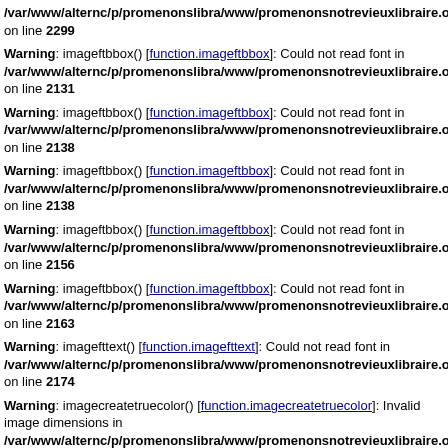/var/www/alternc/p/promenonslibra/www/promenonsnotrevieuxlibraire.org/ecri on line 2299
Warning: imageftbbox() [function.imageftbbox]: Could not read font in /var/www/alternc/p/promenonslibra/www/promenonsnotrevieuxlibraire.org/ecri on line 2131
Warning: imageftbbox() [function.imageftbbox]: Could not read font in /var/www/alternc/p/promenonslibra/www/promenonsnotrevieuxlibraire.org/ecri on line 2138
Warning: imageftbbox() [function.imageftbbox]: Could not read font in /var/www/alternc/p/promenonslibra/www/promenonsnotrevieuxlibraire.org/ecri on line 2138
Warning: imageftbbox() [function.imageftbbox]: Could not read font in /var/www/alternc/p/promenonslibra/www/promenonsnotrevieuxlibraire.org/ecri on line 2156
Warning: imageftbbox() [function.imageftbbox]: Could not read font in /var/www/alternc/p/promenonslibra/www/promenonsnotrevieuxlibraire.org/ecri on line 2163
Warning: imagefttext() [function.imagefttext]: Could not read font in /var/www/alternc/p/promenonslibra/www/promenonsnotrevieuxlibraire.org/ecri on line 2174
Warning: imagecreatetruecolor() [function.imagecreatetruecolor]: Invalid image dimensions in /var/www/alternc/p/promenonslibra/www/promenonsnotrevieuxlibraire.org/ecri on line 2274